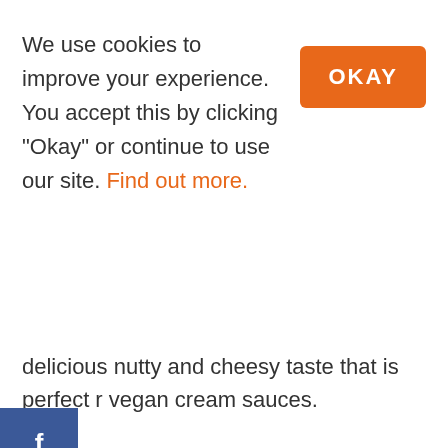We use cookies to improve your experience. You accept this by clicking "Okay" or continue to use our site. Find out more.
[Figure (other): Orange rectangular button with white bold text 'OKAY']
delicious nutty and cheesy taste that is perfect r vegan cream sauces.
[Figure (other): Facebook social share button (blue) and Pinterest button (red) on left sidebar]
946
[Figure (other): Heart/favorite button (light grey circle with orange heart outline) and search/magnifier button (orange circle with white magnifier icon)]